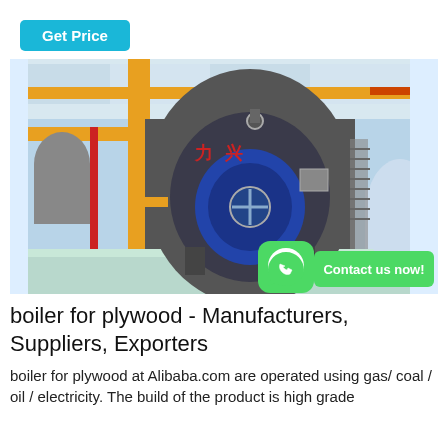Get Price
[Figure (photo): Industrial boiler inside a factory. A large cylindrical grey and blue boiler with Chinese text is visible, surrounded by yellow pipes and structural columns. A WhatsApp icon and 'Contact us now!' button overlay the bottom right.]
boiler for plywood - Manufacturers, Suppliers, Exporters
boiler for plywood at Alibaba.com are operated using gas/ coal / oil / electricity. The build of the product is high grade